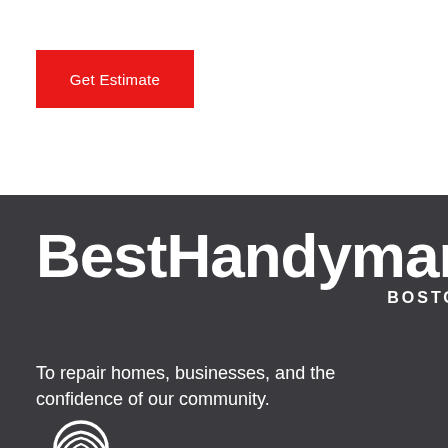[Figure (other): Red 'Get Estimate' button on white background]
[Figure (logo): BestHandyman Boston logo on dark gray background with tagline and Jobber logo]
To repair homes, businesses, and the confidence of our community.
[Figure (logo): Jobber logo — circular icon with text JOBBER below]